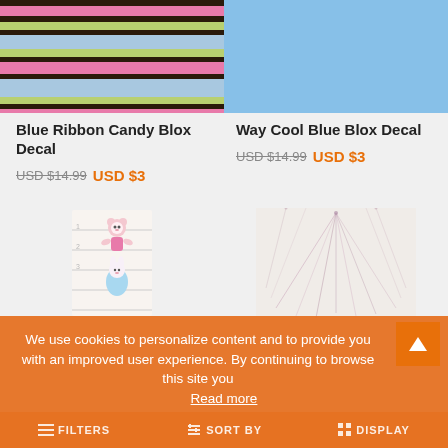[Figure (photo): Blue Ribbon Candy striped wallpaper/decal image with horizontal stripes in pink, green, blue, brown]
[Figure (photo): Solid light blue square / Way Cool Blue Blox Decal product image]
Blue Ribbon Candy Blox Decal
USD $14.99  USD $3
Way Cool Blue Blox Decal
USD $14.99  USD $3
[Figure (photo): Children's growth chart with cute bear and rabbit illustration]
[Figure (photo): Feather or dried floral pattern in soft pink and white tones]
We use cookies to personalize content and to provide you with an improved user experience. By continuing to browse this site you
Read more
FILTERS   SORT BY   DISPLAY